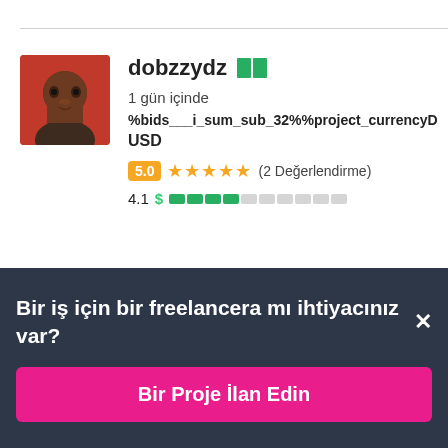[Figure (photo): Profile photo of freelancer dobzzydz, a woman with dark complexion against a red background]
dobzzydz 🇳🇬
1 gün içinde
%bids___i_sum_sub_32%%project_currencyD USD
5.0 ★★★★★ (2 Değerlendirme)
4.1 $ ████░░░░░░
Bir iş için bir freelancera mı ihtiyacınız var? ×
Bir Proje İlan Edin